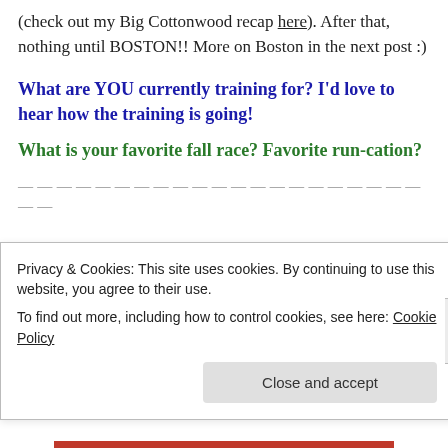(check out my Big Cottonwood recap here). After that, nothing until BOSTON!! More on Boston in the next post :)
What are YOU currently training for? I'd love to hear how the training is going!
What is your favorite fall race? Favorite run-cation?
Privacy & Cookies: This site uses cookies. By continuing to use this website, you agree to their use. To find out more, including how to control cookies, see here: Cookie Policy